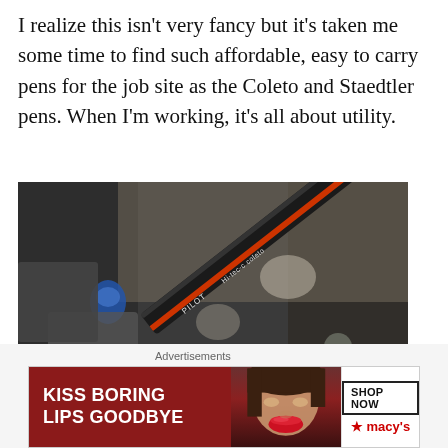I realize this isn't very fancy but it's taken me some time to find such affordable, easy to carry pens for the job site as the Coleto and Staedtler pens. When I'm working, it's all about utility.
[Figure (photo): Close-up photograph of a PILOT Coleto multi-pen lying on a dark surface/bag with other items blurred in the background.]
Advertisements
[Figure (other): Advertisement banner: 'KISS BORING LIPS GOODBYE' with a woman's face and Macy's 'SHOP NOW' button on a dark red background.]